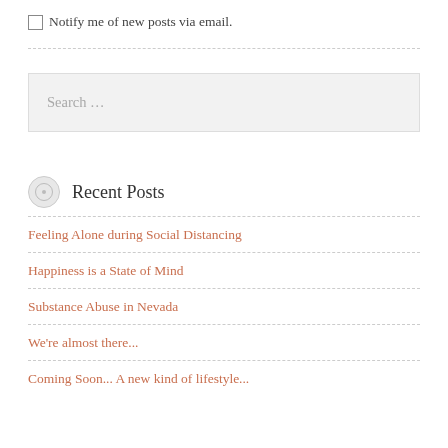Notify me of new posts via email.
Search ...
Recent Posts
Feeling Alone during Social Distancing
Happiness is a State of Mind
Substance Abuse in Nevada
We're almost there...
Coming Soon... A new kind of lifestyle...